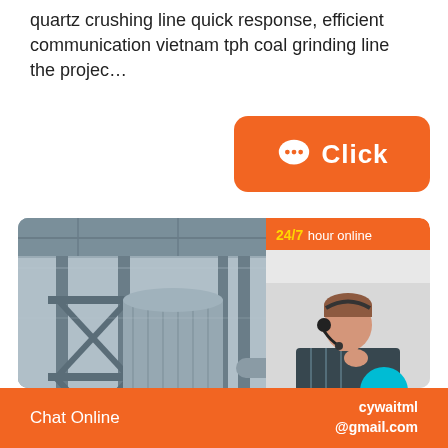quartz crushing line quick response, efficient communication vietnam tph coal grinding line the projec…
[Figure (illustration): Orange rounded rectangle button with chat bubble icon and 'Click' text]
[Figure (photo): Industrial facility interior showing large steel structural frames, silos, and equipment. Overlaid chat widget showing customer service agent with headset, 24/7 hour online header, 'Click to chat' button, and 'Enquiry' section.]
Chat Online    cywaitml @gmail.com